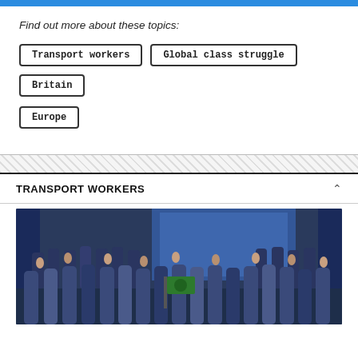Find out more about these topics:
Transport workers
Global class struggle
Britain
Europe
TRANSPORT WORKERS
[Figure (photo): Group photo of transport workers raising fists, holding a green flag with a union emblem, standing in front of a large screen showing a crowd, in a venue with blue curtains.]